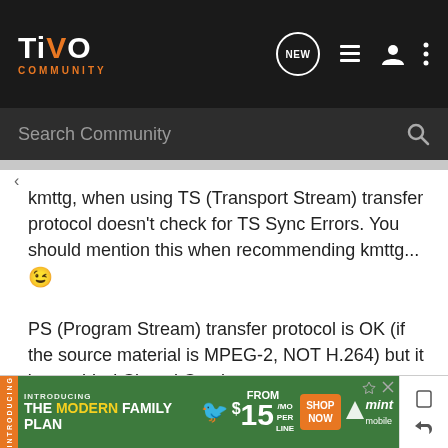TiVo Community — Search Community header bar
kmttg, when using TS (Transport Stream) transfer protocol doesn't check for TS Sync Errors. You should mention this when recommending kmttg... 😉
PS (Program Stream) transfer protocol is OK (if the source material is MPEG-2, NOT H.264) but it 'scrambles' Closed Captions.
Cable & OTA | TiVo: Abbreviations / Icons
[Figure (screenshot): Mint Mobile advertisement banner: THE MODERN FAMILY PLAN FROM $15/MO PER LINE SHOP NOW]